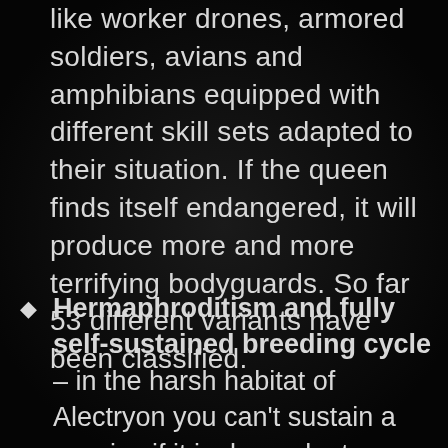like worker drones, armored soldiers, avians and amphibians equipped with different skill sets adapted to their situation. If the queen finds itself endangered, it will produce more and more terrifying bodyguards. So far 53 different variants have been classified.
Hermaphroditism and fully self-sustained breeding cycle – in the harsh habitat of Alectryon you can't sustain a species if it is dependent on whether one can find a mate. Gallinacei have